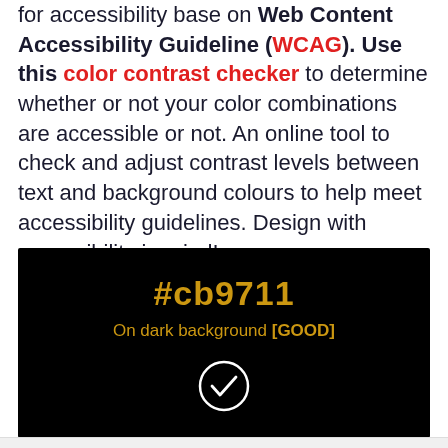for accessibility base on Web Content Accessibility Guideline (WCAG). Use this color contrast checker to determine whether or not your color combinations are accessible or not. An online tool to check and adjust contrast levels between text and background colours to help meet accessibility guidelines. Design with accessibility in mind!
[Figure (screenshot): Black background UI showing color hex code #cb9711 in gold text, 'On dark background [GOOD]' label, and a white circle checkmark icon.]